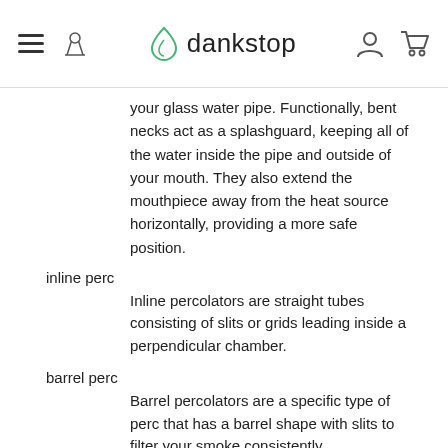dankstop
your glass water pipe. Functionally, bent necks act as a splashguard, keeping all of the water inside the pipe and outside of your mouth. They also extend the mouthpiece away from the heat source horizontally, providing a more safe position.
inline perc
Inline percolators are straight tubes consisting of slits or grids leading inside a perpendicular chamber.
barrel perc
Barrel percolators are a specific type of perc that has a barrel shape with slits to filter your smoke consistently.
dewar’s joint
A dewar’s joint is the small glass tube that connects the joint to the chamber. Its purpose is to reinforce the strength of the joint and to create additional support for the glass pipe
scientific glass
Scientific glass means this pipe is made from clear borosilicate glass. It features a “laboratory” design, and usually an overall shape that resembles scientific